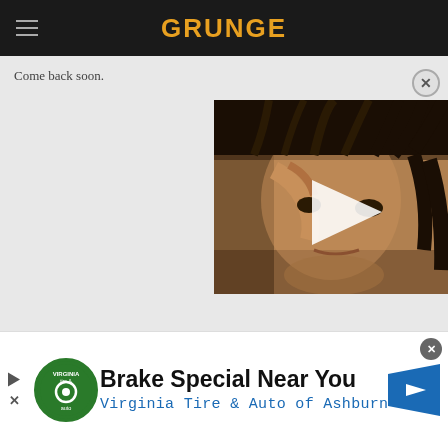GRUNGE
Come back soon.
[Figure (photo): Video thumbnail showing a person with dreadlocks with a play button overlay]
[Figure (screenshot): Advertisement: Brake Special Near You - Virginia Tire & Auto of Ashburn]